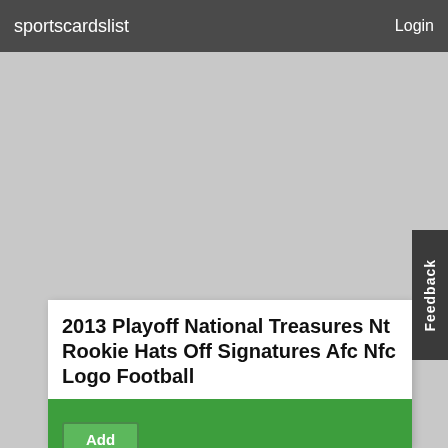sportscardslist    Login
2013 Playoff National Treasures Nt Rookie Hats Off Signatures Afc Nfc Logo Football
|  | Item |
| --- | --- |
|  | 2013 Playoff National Treasures NT Rookie Hats Off Signatures AFC NFC Logo #1 Aaron Dobson AU /1 |
|  | 2013 Playoff National Treasures NT Rookie Hats Off Signatures AFC NFC Logo #2 Andre Ellington AU /1 |